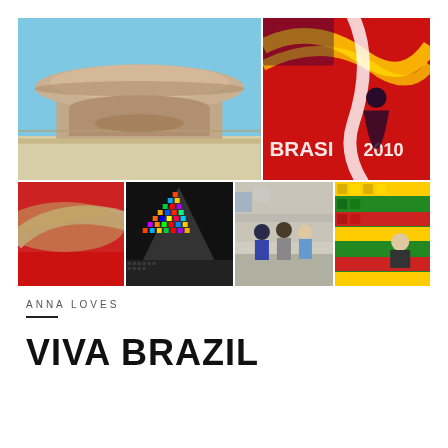[Figure (photo): A collage of six travel photos from Brazil: top-left shows the Niterói Contemporary Art Museum (MAC) with its flying saucer shape against a blue sky; top-right shows a colorful mosaic mural with 'BRASIL 2010' text and a woman in a dark dress posing; bottom-left shows a red-carpeted curved building detail (MAC again); bottom-center shows a colorful mosaic-covered triangular structure (Catedral Metropolitana or Christmas tree); bottom-right-1 shows three people standing in front of a wall on a street; bottom-right-2 shows the Selaron Steps (Escadaria Selarón) with colorful tiles and a woman sitting on them.]
ANNA LOVES
VIVA BRAZIL